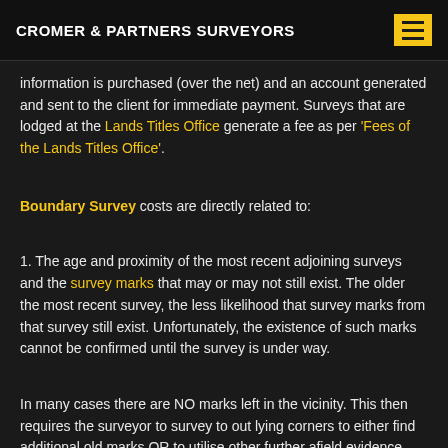CROMER & PARTNERS SURVEYORS
information is purchased (over the net) and an account generated and sent to the client for immediate payment. Surveys that are lodged at the Lands Titles Office generate a fee as per 'Fees of the Lands Titles Office'.
Boundary Survey costs are directly related to:
1. The age and proximity of the most recent adjoining surveys and the survey marks that may or may not still exist. The older the most recent survey, the less likelihood that survey marks from that survey still exist. Unfortunately, the existence of such marks cannot be confirmed until the survey is under way.
In many cases there are NO marks left in the vicinity. This then requires the surveyor to survey to out lying corners to either find additional old marks OR to utilise other further afield evidence